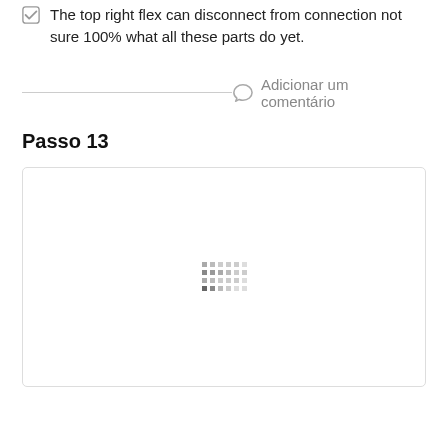The top right flex can disconnect from connection not sure 100% what all these parts do yet.
Adicionar um comentário
Passo 13
[Figure (photo): A white image box with a loading spinner pattern of small grey squares in the center, indicating an image is loading.]